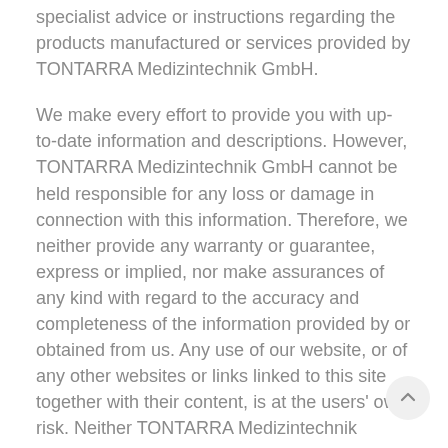specialist advice or instructions regarding the products manufactured or services provided by TONTARRA Medizintechnik GmbH.
We make every effort to provide you with up-to-date information and descriptions. However, TONTARRA Medizintechnik GmbH cannot be held responsible for any loss or damage in connection with this information. Therefore, we neither provide any warranty or guarantee, express or implied, nor make assurances of any kind with regard to the accuracy and completeness of the information provided by or obtained from us. Any use of our website, or of any other websites or links linked to this site together with their content, is at the users' own risk. Neither TONTARRA Medizintechnik GmbH, nor any other party entrusted with the creation, provision, design or maintenance of the entire website or individual parts thereof, or of any websites or offerings linked to our s liable in any form whatsoever for any direct or indirect loss